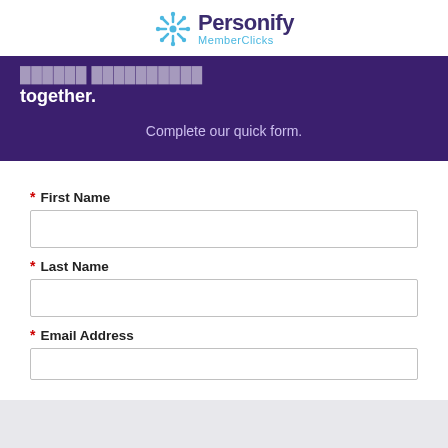[Figure (logo): Personify MemberClicks logo with blue snowflake/asterisk icon and purple Personify text with blue MemberClicks subtitle]
together.
Complete our quick form.
* First Name
* Last Name
* Email Address